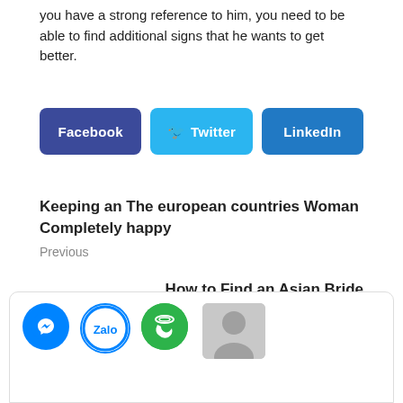you have a strong reference to him, you need to be able to find additional signs that he wants to get better.
[Figure (other): Social share buttons: Facebook (dark blue), Twitter (light blue), LinkedIn (blue)]
Keeping an The european countries Woman Completely happy
Previous
How to Find an Asian Bride
Next
[Figure (other): Chat widget bar at bottom with Messenger icon (blue circle), Zalo icon (white/blue circle), phone icon (green circle), and a gray avatar placeholder]